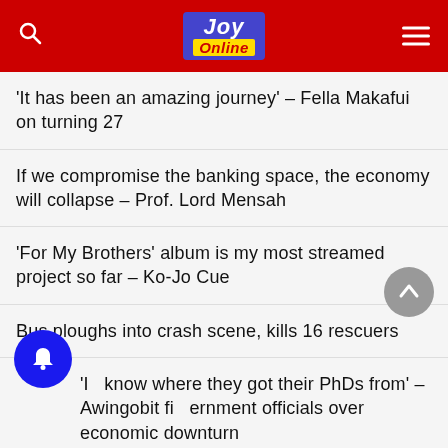Joy Online
‘It has been an amazing journey’ – Fella Makafui on turning 27
If we compromise the banking space, the economy will collapse – Prof. Lord Mensah
‘For My Brothers’ album is my most streamed project so far – Ko-Jo Cue
Bus ploughs into crash scene, kills 16 rescuers
‘I don’t know where they got their PhDs from’ – Awingobit fires government officials over economic downturn
Banking sector clean-up: We are hoping that the 10m